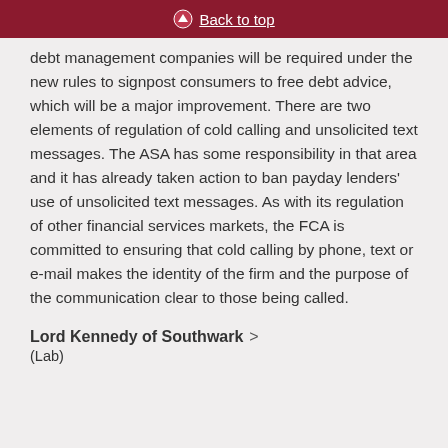Back to top
debt management companies will be required under the new rules to signpost consumers to free debt advice, which will be a major improvement. There are two elements of regulation of cold calling and unsolicited text messages. The ASA has some responsibility in that area and it has already taken action to ban payday lenders' use of unsolicited text messages. As with its regulation of other financial services markets, the FCA is committed to ensuring that cold calling by phone, text or e-mail makes the identity of the firm and the purpose of the communication clear to those being called.
Lord Kennedy of Southwark
(Lab)